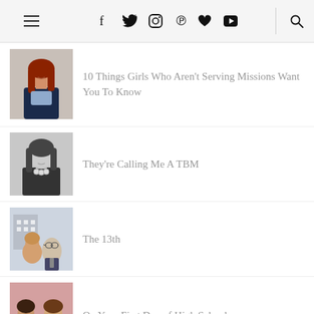Navigation bar with hamburger menu, social icons (Facebook, Twitter, Instagram, Pinterest, Heart, YouTube), and search icon
[Figure (photo): Young woman with long red hair smiling, standing against a brick wall, wearing dark blazer]
10 Things Girls Who Aren't Serving Missions Want You To Know
[Figure (photo): Black and white photo of a young woman with long dark hair smiling, wearing a dark top and necklace]
They're Calling Me A TBM
[Figure (photo): Color photo of two people (a woman and a man in a tie) smiling together, building in background]
The 13th
[Figure (photo): Color photo of two young women posing together, one holding flowers, pink background]
On Your First Day of High School